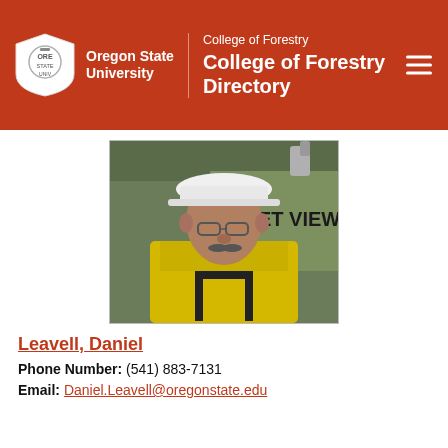College of Forestry — College of Forestry Directory — Oregon State University
[Figure (photo): Portrait photo of Daniel Leavell wearing a white hard hat, yellow fire gear, and a black harness. He is standing in front of a green vehicle with text 'ET VIEW' and 'FIRE' partially visible. He has glasses and a mustache.]
Leavell, Daniel
Phone Number: (541) 883-7131
Email: Daniel.Leavell@oregonstate.edu